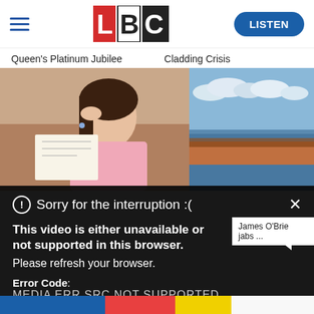[Figure (screenshot): LBC website header with hamburger menu, LBC logo, and LISTEN button]
Queen's Platinum Jubilee    Cladding Crisis
[Figure (photo): Left: woman looking stressed reading paper. Right: refugee boat on sea with clouds.]
Sorry for the interruption :(
This video is either unavailable or not supported in this browser. Please refresh your browser.
Error Code: MEDIA ERR SRC NOT SUPPORTED
James O'Brie jabs ...